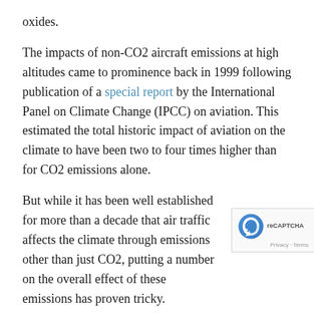oxides.
The impacts of non-CO2 aircraft emissions at high altitudes came to prominence back in 1999 following publication of a special report by the International Panel on Climate Change (IPCC) on aviation. This estimated the total historic impact of aviation on the climate to have been two to four times higher than for CO2 emissions alone.
But while it has been well established for more than a decade that air traffic affects the climate through emissions other than just CO2, putting a number on the overall effect of these emissions has proven tricky.
In particular, the contribution of aircraft emissions to the formation of additional cirrus clouds – thin and